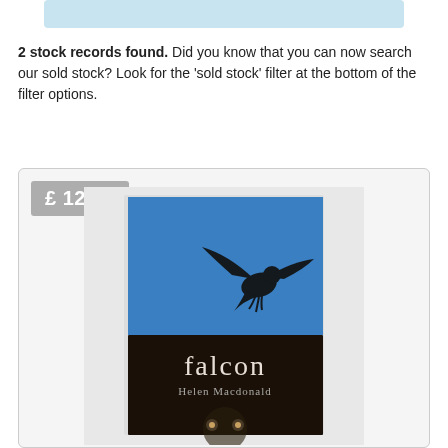[Figure (screenshot): Top blue/light bar UI element, partial screenshot of a search interface]
2 stock records found. Did you know that you can now search our sold stock? Look for the 'sold stock' filter at the bottom of the filter options.
[Figure (photo): Book product card showing a book titled 'falcon' by Helen Macdonald, priced at £12.00. The book cover has a blue upper section with a dark silhouette of a falcon in flight, and a black lower section with the text 'falcon' and 'Helen Macdonald' in white/light text, with a circular owl image at the bottom.]